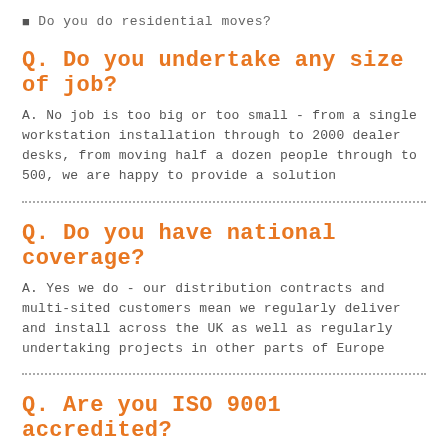Do you do residential moves?
Q. Do you undertake any size of job?
A. No job is too big or too small - from a single workstation installation through to 2000 dealer desks, from moving half a dozen people through to 500, we are happy to provide a solution
Q. Do you have national coverage?
A. Yes we do - our distribution contracts and multi-sited customers mean we regularly deliver and install across the UK as well as regularly undertaking projects in other parts of Europe
Q. Are you ISO 9001 accredited?